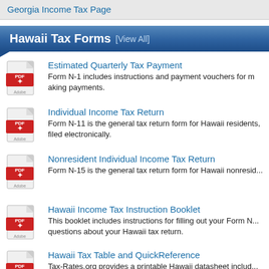Georgia Income Tax Page
Hawaii Tax Forms [View All]
Estimated Quarterly Tax Payment
Form N-1 includes instructions and payment vouchers for making payments.
Individual Income Tax Return
Form N-11 is the general tax return form for Hawaii residents, filed electronically.
Nonresident Individual Income Tax Return
Form N-15 is the general tax return form for Hawaii nonresi...
Hawaii Income Tax Instruction Booklet
This booklet includes instructions for filling out your Form N... questions about your Hawaii tax return.
Hawaii Tax Table and QuickReference
Tax-Rates.org provides a printable Hawaii datasheet includ... deductions, important URLs and mailing addresses, and m...